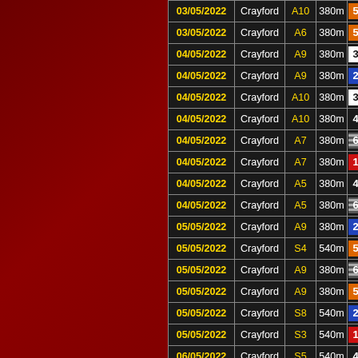| Date | Venue | Race | Dist | Pos |
| --- | --- | --- | --- | --- |
| 03/05/2022 | Crayford | A10 | 380m | 5 |
| 03/05/2022 | Crayford | A6 | 380m | 5 |
| 04/05/2022 | Crayford | A9 | 380m | 3 |
| 04/05/2022 | Crayford | A9 | 380m | 2 |
| 04/05/2022 | Crayford | A10 | 380m | 3 |
| 04/05/2022 | Crayford | A10 | 380m | 4 |
| 04/05/2022 | Crayford | A7 | 380m | 6 |
| 04/05/2022 | Crayford | A7 | 380m | 1 |
| 04/05/2022 | Crayford | A5 | 380m | 4 |
| 04/05/2022 | Crayford | A5 | 380m | 6 |
| 05/05/2022 | Crayford | A9 | 380m | 2 |
| 05/05/2022 | Crayford | S4 | 540m | 5 |
| 05/05/2022 | Crayford | A9 | 380m | 6 |
| 05/05/2022 | Crayford | A9 | 380m | 5 |
| 05/05/2022 | Crayford | S8 | 540m | 2 |
| 05/05/2022 | Crayford | S3 | 540m | 1 |
| 06/05/2022 | Crayford | S5 | 540m | 4 |